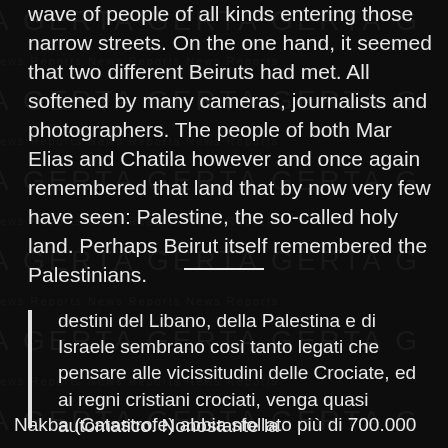wave of people of all kinds entering those narrow streets. On the one hand, it seemed that two different Beiruts had met. All softened by many cameras, journalists and photographers. The people of both Mar Elias and Chatila however and once again remembered that land that by now very few have seen: Palestine, the so-called holy land. Perhaps Beirut itself remembered the Palestinians.
destini del Libano, della Palestina e di Israele sembrano così tanto legati che pensare alle vicissitudini delle Crociate, ed ai regni cristiani crociati, venga quasi automatico. Nonostante la Nakba (Catastrofe) abbia sfollato più di 700.000